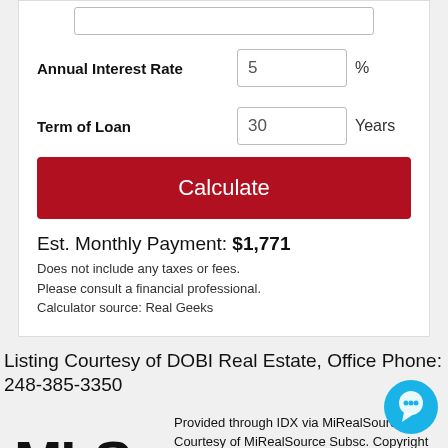Annual Interest Rate — 5 %
Term of Loan — 30 Years
Calculate
Est. Monthly Payment: $1,771
Does not include any taxes or fees.
Please consult a financial professional.
Calculator source: Real Geeks
Listing Courtesy of DOBI Real Estate, Office Phone: 248-385-3350
[Figure (logo): MLS logo with bold black MLS letters and blue orbital ring]
Provided through IDX via MiRealSource. Courtesy of MiRealSource Subsc. Copyright MiRealSource. The information published and disseminated by MiRealSource is communicated verbatim,